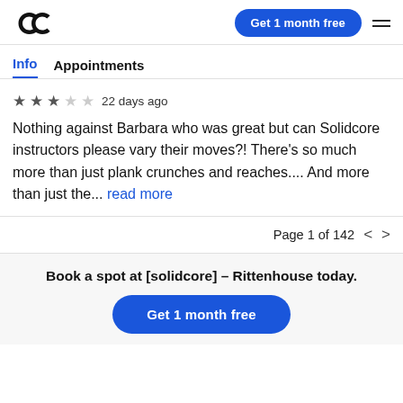Get 1 month free
Info  Appointments
★★★☆☆  22 days ago
Nothing against Barbara who was great but can Solidcore instructors please vary their moves?! There's so much more than just plank crunches and reaches.... And more than just the... read more
Page 1 of 142
Book a spot at [solidcore] – Rittenhouse today.
Get 1 month free